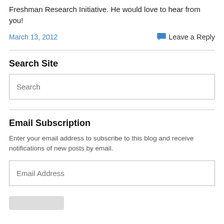Freshman Research Initiative. He would love to hear from you!
March 13, 2012
Leave a Reply
Search Site
Search
Email Subscription
Enter your email address to subscribe to this blog and receive notifications of new posts by email.
Email Address